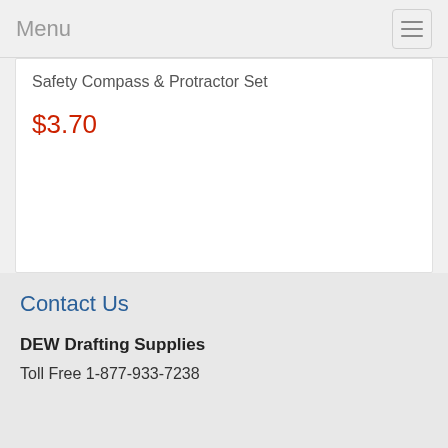Menu
Safety Compass & Protractor Set
$3.70
Contact Us
DEW Drafting Supplies
Toll Free 1-877-933-7238